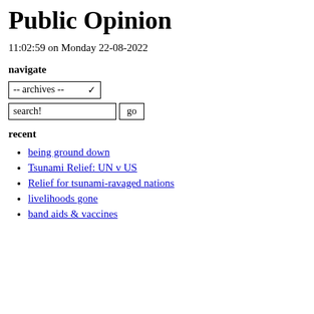Public Opinion
11:02:59 on Monday 22-08-2022
navigate
-- archives --
search! go
recent
being ground down
Tsunami Relief: UN v US
Relief for tsunami-ravaged nations
livelihoods gone
band aids & vaccines